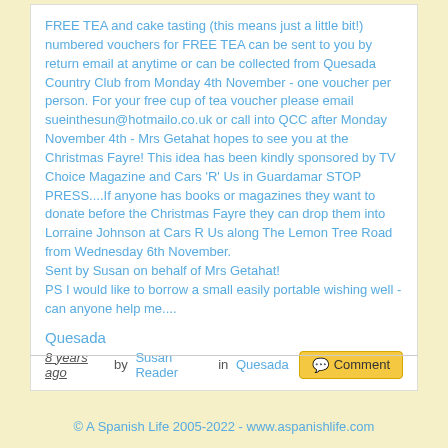FREE TEA and cake tasting (this means just a little bit!) numbered vouchers for FREE TEA can be sent to you by return email at anytime or can be collected from Quesada Country Club from Monday 4th November - one voucher per person. For your free cup of tea voucher please email sueinthesun@hotmailo.co.uk or call into QCC after Monday November 4th - Mrs Getahat hopes to see you at the Christmas Fayre! This idea has been kindly sponsored by TV Choice Magazine and Cars 'R' Us in Guardamar STOP PRESS....If anyone has books or magazines they want to donate before the Christmas Fayre they can drop them into Lorraine Johnson at Cars R Us along The Lemon Tree Road from Wednesday 6th November. Sent by Susan on behalf of Mrs Getahat! PS I would like to borrow a small easily portable wishing well - can anyone help me....
Quesada
8 years ago by Susan Reader in Quesada Comment
© A Spanish Life 2005-2022 - www.aspanishlife.com